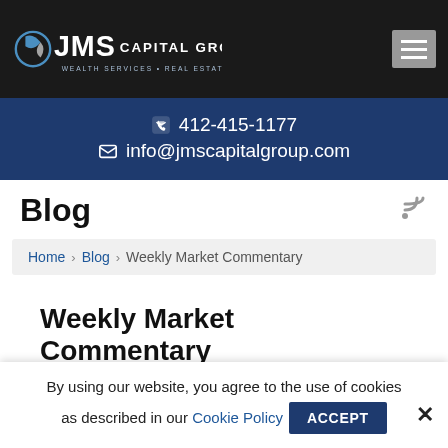JMS Capital Group — WEALTH SERVICES • REAL ESTATE • DEVELOPMENT
412-415-1177  info@jmscapitalgroup.com
Blog
Home › Blog › Weekly Market Commentary
Weekly Market Commentary
Published December 2nd, 2019 by JMSCapitalGroup
By using our website, you agree to the use of cookies as described in our Cookie Policy